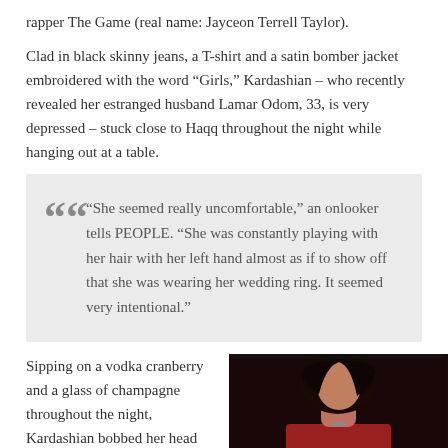rapper The Game (real name: Jayceon Terrell Taylor).
Clad in black skinny jeans, a T-shirt and a satin bomber jacket embroidered with the word “Girls,” Kardashian – who recently revealed her estranged husband Lamar Odom, 33, is very depressed – stuck close to Haqq throughout the night while hanging out at a table.
“She seemed really uncomfortable,” an onlooker tells PEOPLE. “She was constantly playing with her hair with her left hand almost as if to show off that she was wearing her wedding ring. It seemed very intentional.”
Sipping on a vodka cranberry and a glass of champagne throughout the night, Kardashian bobbed her head
[Figure (photo): Photo of a woman with dark hair wearing red clothing, shown from the shoulders up against a dark background.]